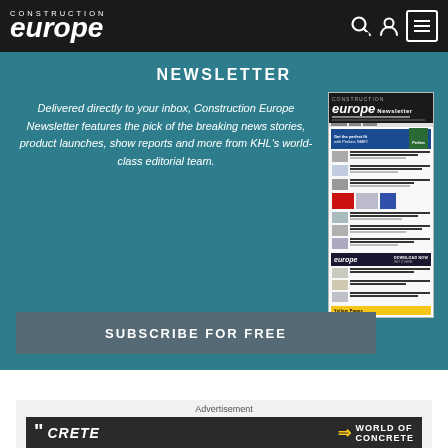Construction Europe
NEWSLETTER
Delivered directly to your inbox, Construction Europe Newsletter features the pick of the breaking news stories, product launches, show reports and more from KHL's world-class editorial team.
[Figure (screenshot): Thumbnail preview of the Construction Europe Newsletter webpage showing news items and advertisements]
SUBSCRIBE FOR FREE
Advertisement